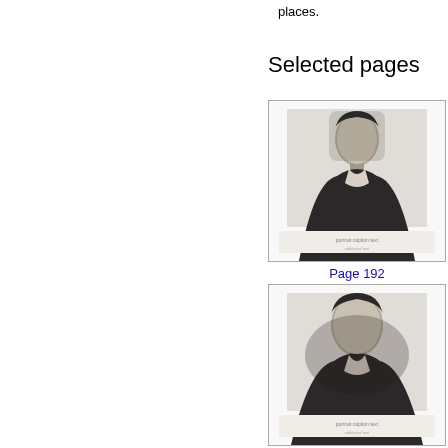places.
Selected pages
[Figure (photo): Portrait engraving of a man in dark coat with caption text below, inside a bordered frame — first selected page thumbnail]
Page 192
[Figure (photo): Portrait engraving of a man in dark coat with caption text below, inside a bordered frame — second selected page thumbnail]